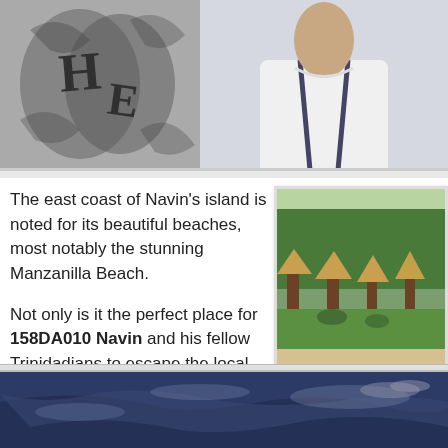[Figure (photo): Top strip: left half shows a black and white tattoo/drawing with gothic letters H and E; right half shows a person in a white shirt with suspenders]
The east coast of Navin’s island is noted for its beautiful beaches, most notably the stunning Manzanilla Beach.

Not only is it the perfect place for 158DA010 Navin and his fellow Trinidadians to escape the local maritime tropical WX, this beach is also known as a hatching site of the local leatherback sea turtle.
[Figure (photo): Beach photo showing thatched roof huts/palapas, sandy beach and green grass, tropical trees in background]
[Figure (photo): Bottom strip: dark blue sky with light clouds, appears to be a night or dusk sky scene]